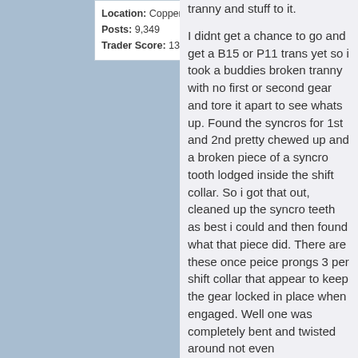Location: Copperas Cove, Tx
Posts: 9,349
Trader Score: 13 (100%)
tranny and stuff to it.

I didnt get a chance to go and get a B15 or P11 trans yet so i took a buddies broken tranny with no first or second gear and tore it apart to see whats up. Found the syncros for 1st and 2nd pretty chewed up and a broken piece of a syncro tooth lodged inside the shift collar. So i got that out, cleaned up the syncro teeth as best i could and then found what that piece did. There are these once peice prongs 3 per shift collar that appear to keep the gear locked in place when engaged. Well one was completely bent and twisted around not even